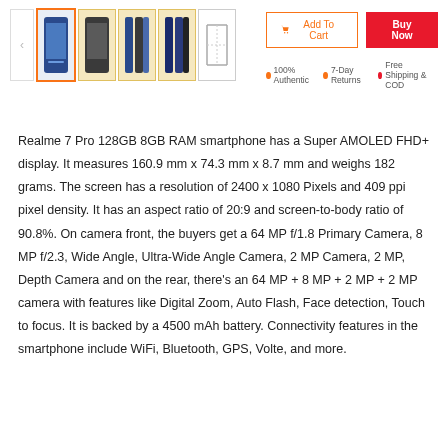[Figure (screenshot): Product image thumbnails for Realme 7 Pro smartphone with navigation arrows and 5 thumbnail images]
[Figure (screenshot): Add To Cart and Buy Now buttons with 100% Authentic, 7-Day Returns, and Free Shipping & COD badges]
Realme 7 Pro 128GB 8GB RAM smartphone has a Super AMOLED FHD+ display. It measures 160.9 mm x 74.3 mm x 8.7 mm and weighs 182 grams. The screen has a resolution of 2400 x 1080 Pixels and 409 ppi pixel density. It has an aspect ratio of 20:9 and screen-to-body ratio of 90.8%. On camera front, the buyers get a 64 MP f/1.8 Primary Camera, 8 MP f/2.3, Wide Angle, Ultra-Wide Angle Camera, 2 MP Camera, 2 MP, Depth Camera and on the rear, there's an 64 MP + 8 MP + 2 MP + 2 MP camera with features like Digital Zoom, Auto Flash, Face detection, Touch to focus. It is backed by a 4500 mAh battery. Connectivity features in the smartphone include WiFi, Bluetooth, GPS, Volte, and more.